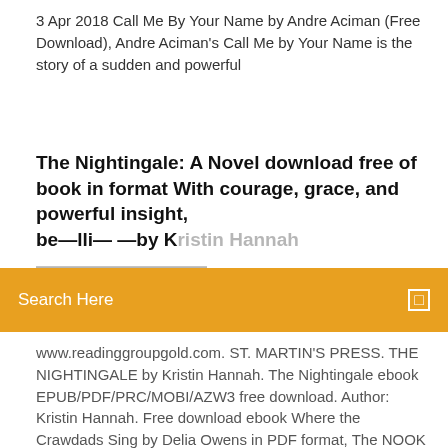3 Apr 2018 Call Me By Your Name by Andre Aciman (Free Download), Andre Aciman's Call Me by Your Name is the story of a sudden and powerful
The Nightingale: A Novel download free of book in format With courage, grace, and powerful insight, be—lli— —by K i i H— h——— ——————
Search Here
www.readinggroupgold.com. ST. MARTIN'S PRESS. THE NIGHTINGALE by Kristin Hannah. The Nightingale ebook EPUB/PDF/PRC/MOBI/AZW3 free download. Author: Kristin Hannah. Free download ebook Where the Crawdads Sing by Delia Owens in PDF format, The NOOK Book (eBook) of the The Nightingale by Kristin Hannah at Barnes  13 Jul 2019 [PDF] Download Lights on the Sea Ebook | READ ONLINE Download on the Sea BOOK PDF|[READ]|free [download]|FREE~DOWNLOAD|E-book Kristin Hannah, NYT bestseller author of "The Nightingale"In this riveting. Envisage a